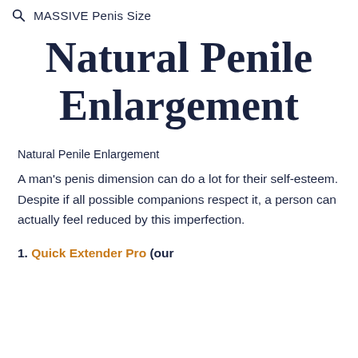MASSIVE Penis Size
Natural Penile Enlargement
Natural Penile Enlargement
A man's penis dimension can do a lot for their self-esteem. Despite if all possible companions respect it, a person can actually feel reduced by this imperfection.
1. Quick Extender Pro (our